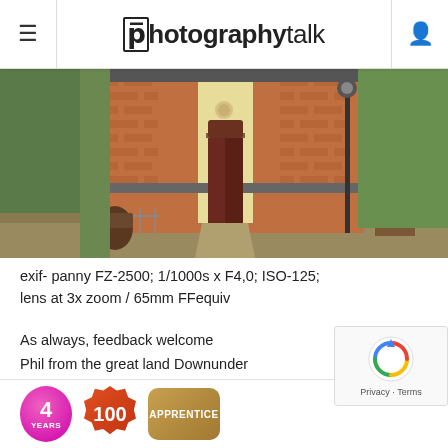photographytalk
[Figure (photo): Brick building with dark red double doors, lamp post, fence, and grass in front. Australian heritage building exterior.]
exif- panny FZ-2500; 1/1000s x F4,0; ISO-125; lens at 3x zoom / 65mm FFequiv
As always, feedback welcome
Phil from the great land Downunder
www.flickr.com/photos/ozzie_traveller/sets/
[Figure (infographic): User badges: 4 YEARS badge (pink circle), 100 badge (red starburst), APPRENTICE badge (gold rounded rectangle)]